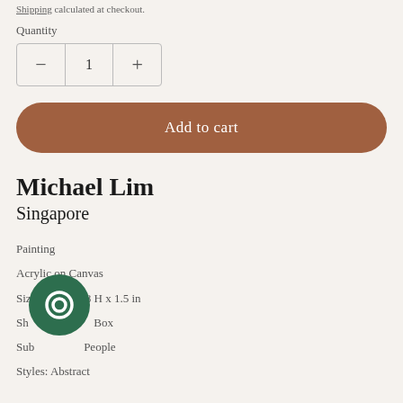Shipping calculated at checkout.
Quantity
1
Add to cart
Michael Lim
Singapore
Painting
Acrylic on Canvas
Size: 18 W x 18 H x 1.5 in
Shipping Box
Subject: People
Styles: Abstract